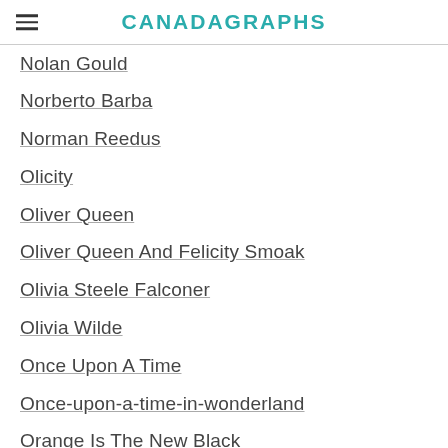CANADAGRAPHS
Nolan Gould
Norberto Barba
Norman Reedus
Olicity
Oliver Queen
Oliver Queen And Felicity Smoak
Olivia Steele Falconer
Olivia Wilde
Once Upon A Time
Once-upon-a-time-in-wonderland
Orange Is The New Black
Orphan Black
Osric Chau
Outlander